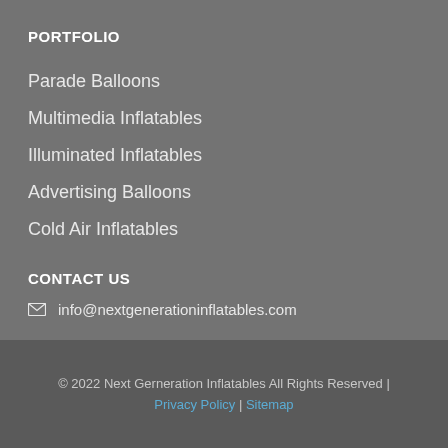PORTFOLIO
Parade Balloons
Multimedia Inflatables
Illuminated Inflatables
Advertising Balloons
Cold Air Inflatables
CONTACT US
info@nextgenerationinflatables.com
© 2022 Next Gerneration Inflatables All Rights Reserved | Privacy Policy | Sitemap